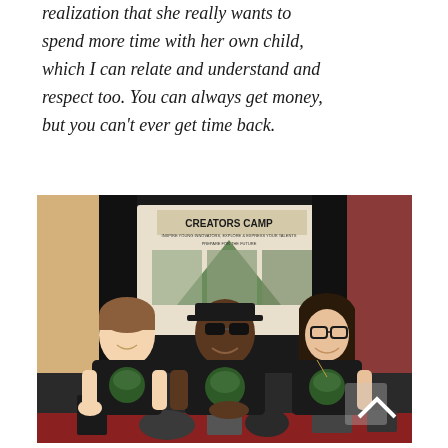realization that she really wants to spend more time with her own child, which I can relate and understand and respect too. You can always get money, but you can't ever get time back.
[Figure (photo): Three people sitting at a booth table, all wearing black t-shirts with a green circle logo. In the background is a display board reading 'CREATORS CAMP'. The setting appears to be a convention or expo hall.]